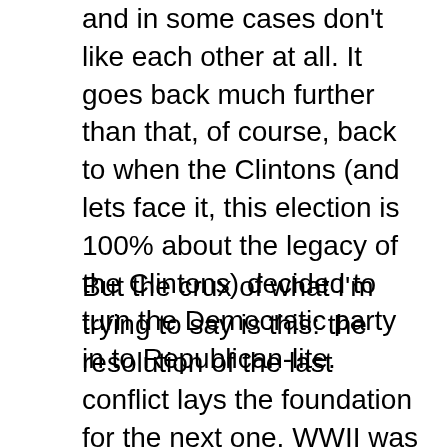and in some cases don't like each other at all. It goes back much further than that, of course, back to when the Clintons (and lets face it, this election is 100% about the legacy of the Clintons) decided to turn the Democratic party in to Republican-lite.
But the crux of what I'm trying to say is this: the resolution of the last conflict lays the foundation for the next one. WWII was more or less set up during Versailles. The Civil War was a direct result of how the US Constitution was written (from slavery to the fight of States Rights vs Federalism). Each political coalition formed contains the basis of its eventual undoing in its very foundation. So to bring it all home, the current conflicts within the Democratic party of 2016 are a direct result of the coalition it brought together post-Carter or more accurately post-LBJ. LBJ's Great Society was the last serious attempt